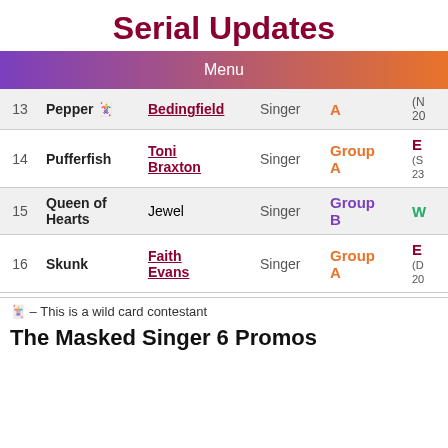Serial Updates
Menu
| # | Mask | Celebrity | Role | Group | Extra |
| --- | --- | --- | --- | --- | --- |
| 13 | Pepper 🃏 | Bedingfield | Singer | A | (N
20 |
| 14 | Pufferfish | Toni Braxton | Singer | Group A | E
(S
23 |
| 15 | Queen of Hearts | Jewel | Singer | Group B | W |
| 16 | Skunk | Faith Evans | Singer | Group A | E
(D
20 |
🃏 – This is a wild card contestant
The Masked Singer 6 Promos